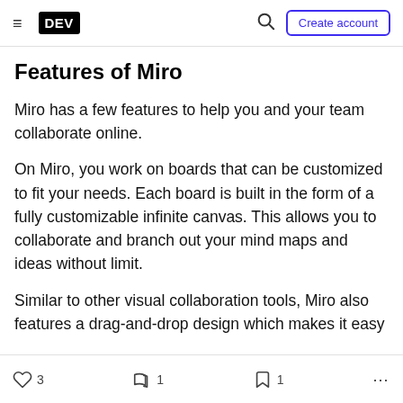DEV — Create account
Features of Miro
Miro has a few features to help you and your team collaborate online.
On Miro, you work on boards that can be customized to fit your needs. Each board is built in the form of a fully customizable infinite canvas. This allows you to collaborate and branch out your mind maps and ideas without limit.
Similar to other visual collaboration tools, Miro also features a drag-and-drop design which makes it easy
3   1   1   ...